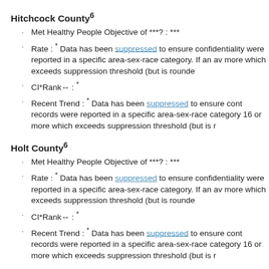Hitchcock County⁶
Met Healthy People Objective of ***? : ***
Rate : * Data has been suppressed to ensure confidentiality were reported in a specific area-sex-race category. If an av more which exceeds suppression threshold (but is rounde
CI*Rank↔ : *
Recent Trend : * Data has been suppressed to ensure cont records were reported in a specific area-sex-race category 16 or more which exceeds suppression threshold (but is r
Holt County⁶
Met Healthy People Objective of ***? : ***
Rate : * Data has been suppressed to ensure confidentiality were reported in a specific area-sex-race category. If an av more which exceeds suppression threshold (but is rounde
CI*Rank↔ : *
Recent Trend : * Data has been suppressed to ensure cont records were reported in a specific area-sex-race category 16 or more which exceeds suppression threshold (but is r
Hooker County⁶
Met Healthy People Objective of ***? : ***